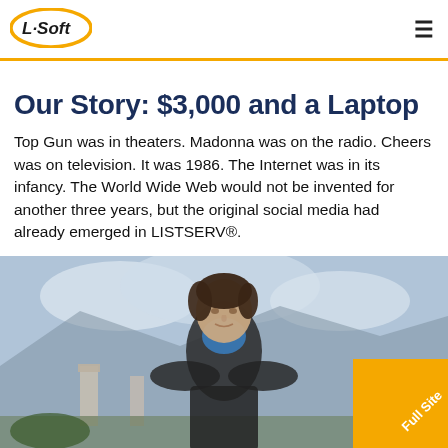[Figure (logo): L-Soft logo with orange swoosh/ellipse shape and black text]
Our Story: $3,000 and a Laptop
Top Gun was in theaters. Madonna was on the radio. Cheers was on television. It was 1986. The Internet was in its infancy. The World Wide Web would not be invented for another three years, but the original social media had already emerged in LISTSERV®.
[Figure (photo): A young man standing outdoors in front of ancient ruins and mountains, wearing a dark jacket over a blue shirt. This appears to be a vintage 1980s photograph.]